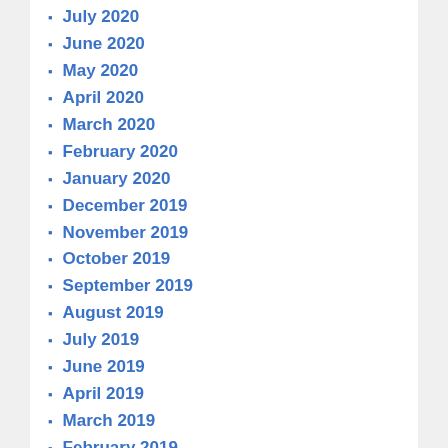July 2020
June 2020
May 2020
April 2020
March 2020
February 2020
January 2020
December 2019
November 2019
October 2019
September 2019
August 2019
July 2019
June 2019
April 2019
March 2019
February 2019
January 2019
December 2018
November 2018
October 2018
September 2018